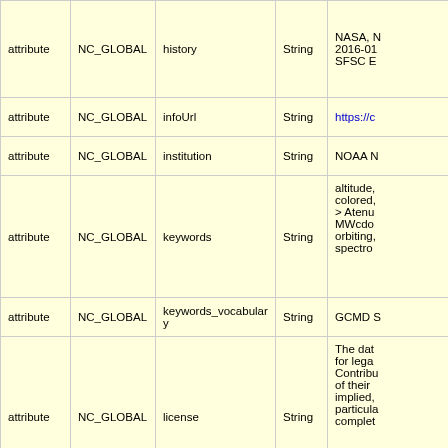|  |  |  |  |  |
| --- | --- | --- | --- | --- |
| attribute | NC_GLOBAL | history | String | NASA, N 2016-01 SFSC E |
| attribute | NC_GLOBAL | infoUrl | String | https://c |
| attribute | NC_GLOBAL | institution | String | NOAA N |
| attribute | NC_GLOBAL | keywords | String | altitude, colored, > Atenu MWcdo orbiting, spectro |
| attribute | NC_GLOBAL | keywords_vocabulary | String | GCMD S |
| attribute | NC_GLOBAL | license | String | The dat for lega Contribu of their  implied, particula complet |
| attribute | NC_GLOBAL | naming_authority | String | gov.noa |
| attribute | NC_GLOBAL | Northernmost_Northing | double | 51.0 |
| attribute | NC_GLOBAL | origin | String | NASA, N |
| attribute | NC_GLOBAL | processing_level | String | 2 |